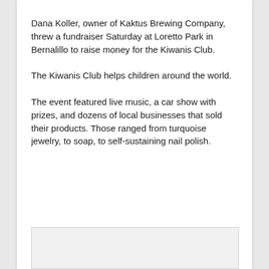Dana Koller, owner of Kaktus Brewing Company, threw a fundraiser Saturday at Loretto Park in Bernalillo to raise money for the Kiwanis Club.
The Kiwanis Club helps children around the world.
The event featured live music, a car show with prizes, and dozens of local businesses that sold their products. Those ranged from turquoise jewelry, to soap, to self-sustaining nail polish.
[Figure (photo): Partially visible photo at the bottom of the page]